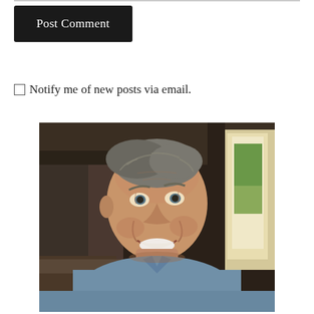Post Comment
Notify me of new posts via email.
[Figure (photo): Portrait photo of an older smiling man with short gray hair, wearing a blue button-up shirt, seated inside what appears to be a train car or diner with windows and dark wood interior visible in the background.]